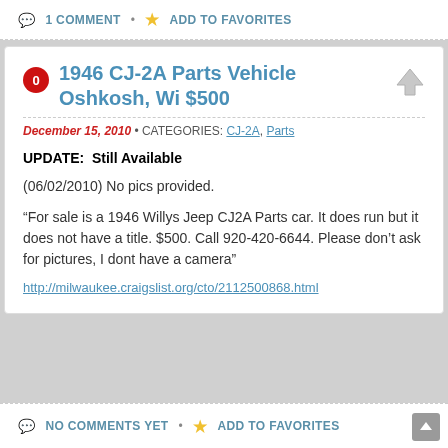💬 1 COMMENT • ⭐ ADD TO FAVORITES
1946 CJ-2A Parts Vehicle Oshkosh, Wi $500
December 15, 2010 • CATEGORIES: CJ-2A, Parts
UPDATE:  Still Available
(06/02/2010) No pics provided.
“For sale is a 1946 Willys Jeep CJ2A Parts car. It does run but it does not have a title. $500. Call 920-420-6644. Please don’t ask for pictures, I dont have a camera”
http://milwaukee.craigslist.org/cto/2112500868.html
NO COMMENTS YET • ⭐ ADD TO FAVORITES